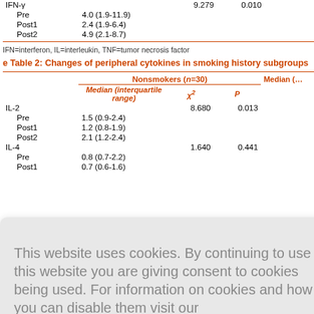|  | Median (interquartile range) | χ² | P | Median (… |
| --- | --- | --- | --- | --- |
| IFN-γ |  | 9.279 | 0.010 |  |
|   Pre | 4.0 (1.9-11.9) |  |  |  |
|   Post1 | 2.4 (1.9-6.4) |  |  |  |
|   Post2 | 4.9 (2.1-8.7) |  |  |  |
IFN=interferon, IL=interleukin, TNF=tumor necrosis factor
e Table 2: Changes of peripheral cytokines in smoking history subgroups
|  | Nonsmokers (n=30) |  |  |  |
| --- | --- | --- | --- | --- |
|  | Median (interquartile range) | χ² | P | Median (… |
| IL-2 |  | 8.680 | 0.013 |  |
|   Pre | 1.5 (0.9-2.4) |  |  |  |
|   Post1 | 1.2 (0.8-1.9) |  |  |  |
|   Post2 | 2.1 (1.2-2.4) |  |  |  |
| IL-4 |  | 1.640 | 0.441 |  |
|   Pre | 0.8 (0.7-2.2) |  |  |  |
|   Post1 | 0.7 (0.6-1.6) |  |  |  |
| TNF-α |  | 2.264 | 0.322 |  |
|   Pre | 2.3 (1.3-3.7) |  |  |  |
This website uses cookies. By continuing to use this website you are giving consent to cookies being used. For information on cookies and how you can disable them visit our
Privacy and Cookie Policy.
AGREE & PROCEED